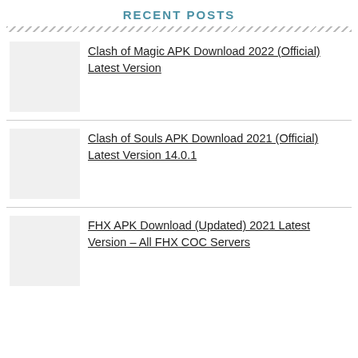RECENT POSTS
Clash of Magic APK Download 2022 (Official) Latest Version
Clash of Souls APK Download 2021 (Official) Latest Version 14.0.1
FHX APK Download (Updated) 2021 Latest Version – All FHX COC Servers